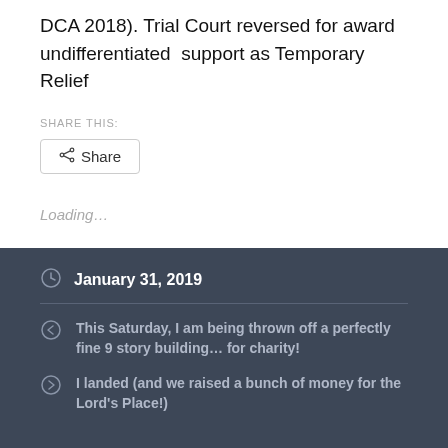DCA 2018). Trial Court reversed for award undifferentiated  support as Temporary Relief
SHARE THIS:
Share
Loading...
January 31, 2019
This Saturday, I am being thrown off a perfectly fine 9 story building… for charity!
I landed (and we raised a bunch of money for the Lord's Place!)